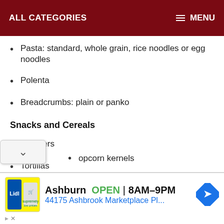ALL CATEGORIES    MENU
Pasta: standard, whole grain, rice noodles or egg noodles
Polenta
Breadcrumbs: plain or panko
Snacks and Cereals
Crackers
Tortillas
Cookies or biscuits
Pretzels
Marshmallows
Popcorn kernels
Ashburn  OPEN  8AM–9PM
44175 Ashbrook Marketplace Pl...